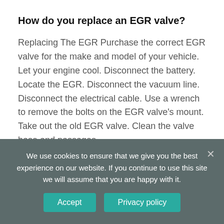How do you replace an EGR valve?
Replacing The EGR Purchase the correct EGR valve for the make and model of your vehicle. Let your engine cool. Disconnect the battery. Locate the EGR. Disconnect the vacuum line. Disconnect the electrical cable. Use a wrench to remove the bolts on the EGR valve's mount. Take out the old EGR valve. Clean the valve base and passages.
What are the symptoms of a leaking EGR
We use cookies to ensure that we give you the best experience on our website. If you continue to use this site we will assume that you are happy with it.